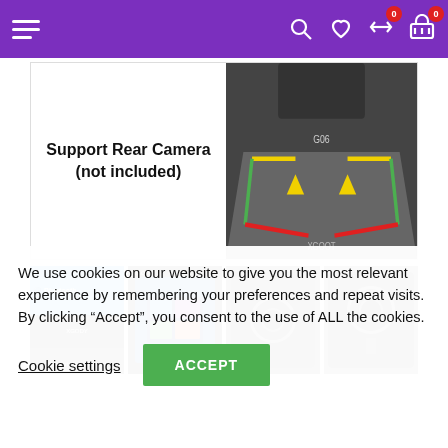Navigation bar with hamburger menu, search, wishlist, compare (0), cart (0) icons on purple background
[Figure (screenshot): Product feature image showing 'Support Rear Camera (not included)' text on left and a car GPS navigation screen displaying rear camera view with colored parking guide lines on right]
[Figure (screenshot): Row of product thumbnail images: Bluetooth feature collage, XGODY navigation device front view, front-facing camera view, side/mounted camera view]
We use cookies on our website to give you the most relevant experience by remembering your preferences and repeat visits. By clicking “Accept”, you consent to the use of ALL the cookies.
Cookie settings | ACCEPT